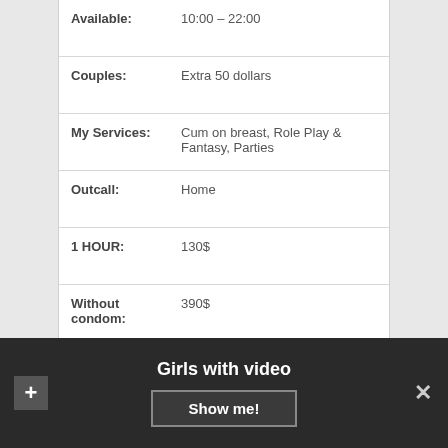| Available: | 10:00 – 22:00 |
| Couples: | Extra 50 dollars |
| My Services: | Cum on breast, Role Play & Fantasy, Parties |
| Outcall: | Home |
| 1 HOUR: | 130$ |
| Without condom: | 390$ |
| Bust: | A |
|  | VIDEO |
Hello gentlemen,
Girls with video
Show me!